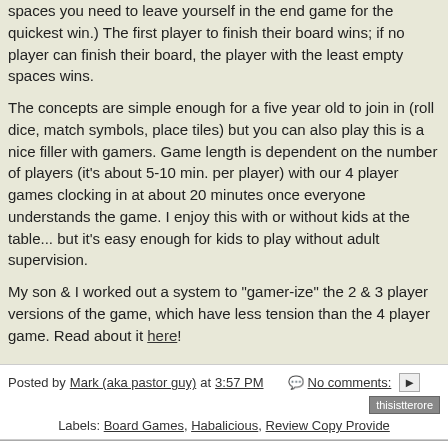spaces you need to leave yourself in the end game for the quickest win.) The first player to finish their board wins; if no player can finish their board, the player with the least empty spaces wins.
The concepts are simple enough for a five year old to join in (roll dice, match symbols, place tiles) but you can also play this is a nice filler with gamers. Game length is dependent on the number of players (it's about 5-10 min. per player) with our 4 player games clocking in at about 20 minutes once everyone understands the game. I enjoy this with or without kids at the table... but it's easy enough for kids to play without adult supervision.
My son & I worked out a system to "gamer-ize" the 2 & 3 player versions of the game, which have less tension than the 4 player game. Read about it here!
Posted by Mark (aka pastor guy) at 3:57 PM   No comments:
Labels: Board Games, Habalicious, Review Copy Provide
#90: Settlers of Catan Card Game
Settlers of Catan Card Game